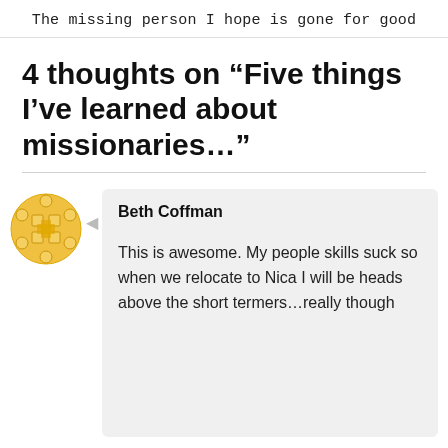The missing person I hope is gone for good
4 thoughts on “Five things I’ve learned about missionaries…”
Beth Coffman
This is awesome. My people skills suck so when we relocate to Nica I will be heads above the short termers…really though